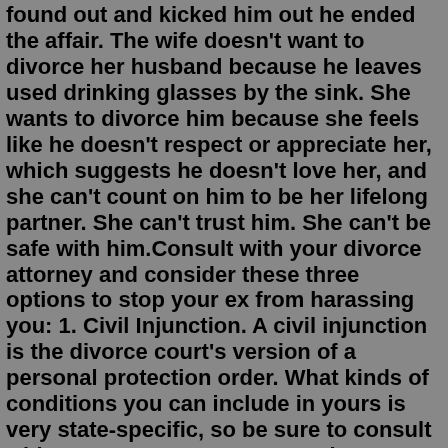found out and kicked him out he ended the affair. The wife doesn't want to divorce her husband because he leaves used drinking glasses by the sink. She wants to divorce him because she feels like he doesn't respect or appreciate her, which suggests he doesn't love her, and she can't count on him to be her lifelong partner. She can't trust him. She can't be safe with him.Consult with your divorce attorney and consider these three options to stop your ex from harassing you: 1. Civil Injunction. A civil injunction is the divorce court's version of a personal protection order. What kinds of conditions you can include in yours is very state-specific, so be sure to consult with your attorney.2. Constructive Abandonment. If a spouse leaves a marriage because the other spouse has made conditions intolerable to stay, the person leaving the marriage can claim constructive abandonment. Suppose your spouse is abusive to you, has committed adultery, or has a chronic substance addiction problem.Posted by 5 minutes ago ex-wife divorced me for someone else, advice, 17 yr relationship, wife joins